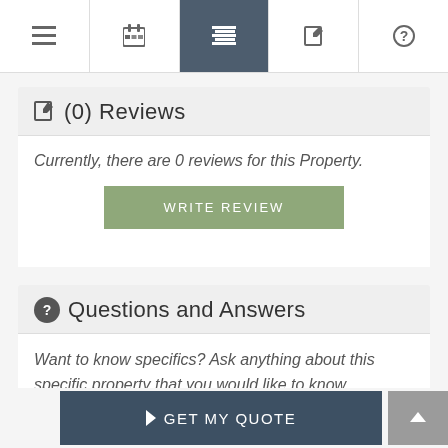[Figure (screenshot): Top navigation bar with 5 icons: hamburger menu, calendar/checklist, list (active/highlighted in dark blue-grey), edit, and help question mark]
(0) Reviews
Currently, there are 0 reviews for this Property.
[Figure (other): WRITE REVIEW button in sage green]
Questions and Answers
Want to know specifics? Ask anything about this specific property that you would like to know...
[Figure (other): GET MY QUOTE button in dark navy blue at bottom, with scroll-to-top button on the right]